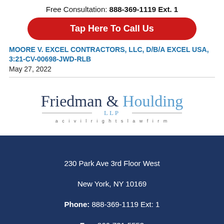Free Consultation: 888-369-1119 Ext. 1
Tap Here To Call Us
MOORE V. EXCEL CONTRACTORS, LLC, d/b/a EXCEL USA, 3:21-cv-00698-JWD-RLB
May 27, 2022
[Figure (logo): Friedman & Houlding LLP – a civil rights law firm logo]
230 Park Ave 3rd Floor West
New York, NY 10169
Phone: 888-369-1119 Ext: 1
Fax: 866-731-5553
Email: attorney@friedmanhouldingllp.com